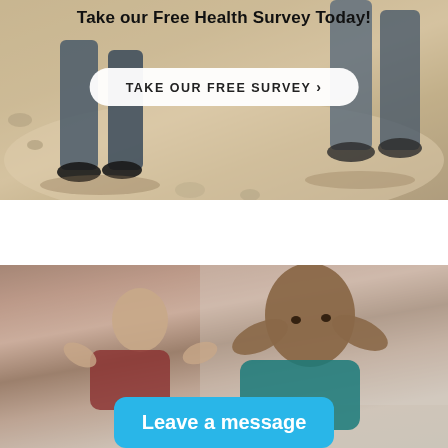[Figure (photo): Two people walking outdoors on a sandy/gravelly path, showing legs and feet in jeans, with text overlay 'Take our Free Health Survey Today!' and a white pill-shaped button 'TAKE OUR FREE SURVEY ›']
Take our Free Health Survey Today!
TAKE OUR FREE SURVEY ›
[Figure (photo): Two men doing sit-up/crunch exercises, one bald man in foreground looking at camera, another in background, indoors with blurred background. A blue rounded button overlay reads 'Leave a message'.]
Leave a message